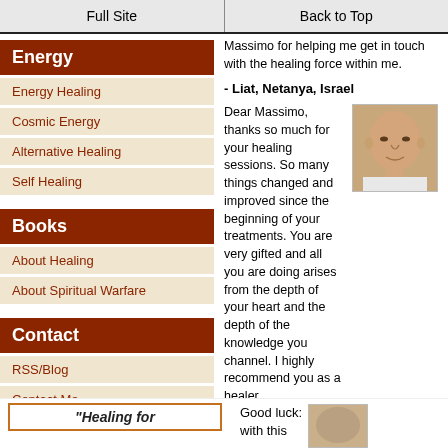Full Site | Back to Top
Energy
Energy Healing
Cosmic Energy
Alternative Healing
Self Healing
Books
About Healing
About Spiritual Warfare
Contact
RSS/Blog
Contact Me
Tell your story
Massimo for helping me get in touch with the healing force within me.
- Liat, Netanya, Israel
Dear Massimo, thanks so much for your healing sessions. So many things changed and improved since the beginning of your treatments. You are very gifted and all you are doing arises from the depth of your heart and the depth of the knowledge you channel. I highly recommend you as a healer.
[Figure (photo): Portrait photo of a bald man in a white shirt]
- Zvi, Tel Aviv, Israel
"Healing for
Good luck: with this